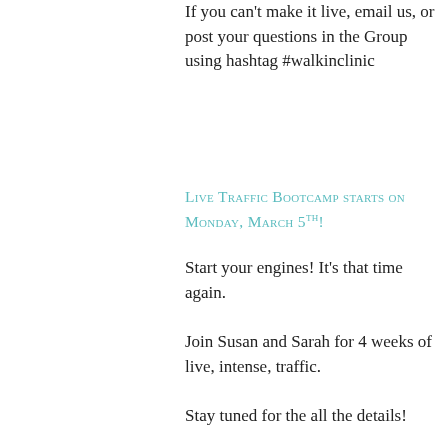If you can't make it live, email us, or post your questions in the Group using hashtag #walkinclinic
Live Traffic Bootcamp starts on Monday, March 5th!
Start your engines! It's that time again.
Join Susan and Sarah for 4 weeks of live, intense, traffic.
Stay tuned for the all the details!